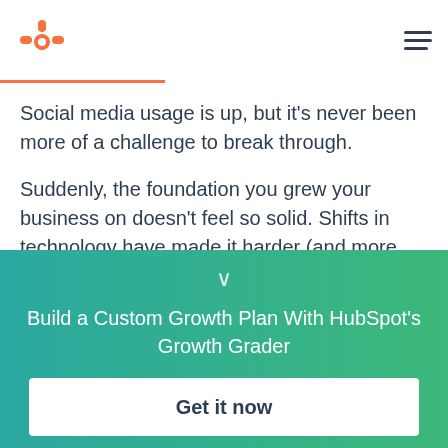HubSpot logo and navigation menu
Social media usage is up, but it's never been more of a challenge to break through.
Suddenly, the foundation you grew your business on doesn't feel so solid. Shifts in technology have made it harder (and more expensive) for marketers to cut through the clutter and be heard.
Build a Custom Growth Plan With HubSpot's Growth Grader
Get it now